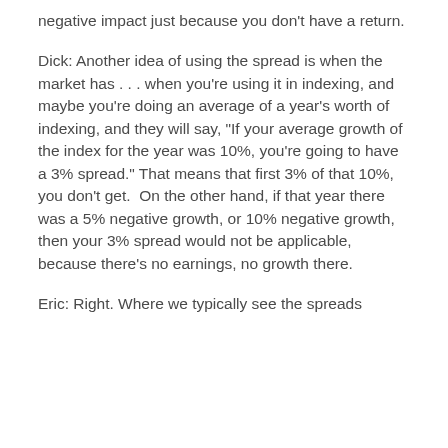negative impact just because you don't have a return.
Dick: Another idea of using the spread is when the market has . . . when you're using it in indexing, and maybe you're doing an average of a year's worth of indexing, and they will say, "If your average growth of the index for the year was 10%, you're going to have a 3% spread." That means that first 3% of that 10%, you don't get.  On the other hand, if that year there was a 5% negative growth, or 10% negative growth, then your 3% spread would not be applicable, because there's no earnings, no growth there.
Eric: Right. Where we typically see the spreads